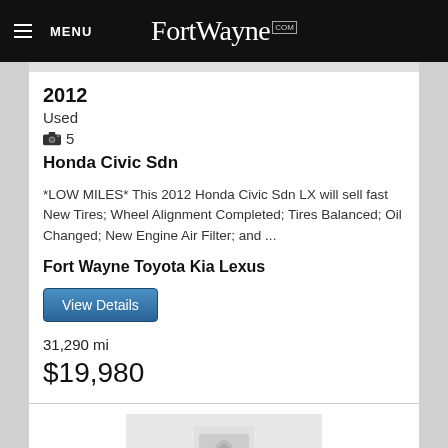MENU | FortWayne.com
2012
Used
📷 5
Honda Civic Sdn
*LOW MILES* This 2012 Honda Civic Sdn LX will sell fast New Tires; Wheel Alignment Completed; Tires Balanced; Oil Changed; New Engine Air Filter; and ...
Fort Wayne Toyota Kia Lexus
View Details
31,290 mi
$19,980
[Figure (photo): Placeholder image for second vehicle listing]